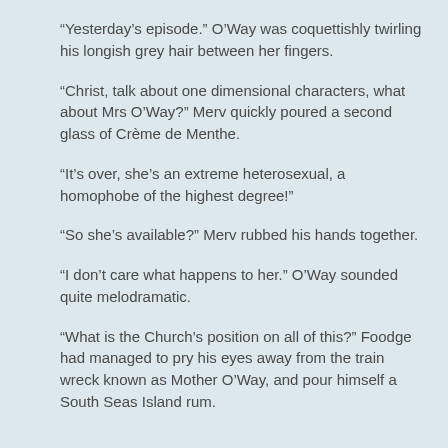“Yesterday’s episode.” O’Way was coquettishly twirling his longish grey hair between her fingers.
“Christ, talk about one dimensional characters, what about Mrs O’Way?” Merv quickly poured a second glass of Crème de Menthe.
“It’s over, she’s an extreme heterosexual, a homophobe of the highest degree!”
“So she’s available?” Merv rubbed his hands together.
“I don’t care what happens to her.” O’Way sounded quite melodramatic.
“What is the Church’s position on all of this?” Foodge had managed to pry his eyes away from the train wreck known as Mother O’Way, and pour himself a South Seas Island rum.